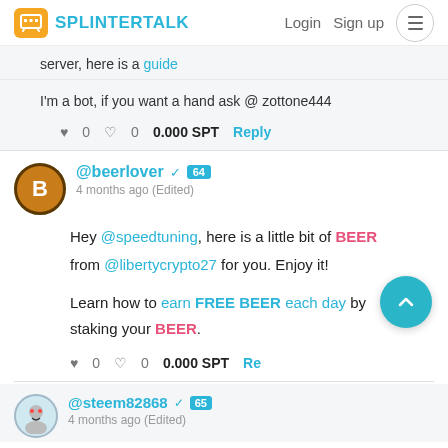SPLINTERTALK — Login  Sign up
server, here is a guide
I'm a bot, if you want a hand ask @ zottone444
♥ 0  ♥ 0  0.000 SPT  Reply
@beerlover ✓ 64
4 months ago (Edited)
Hey @speedtuning, here is a little bit of BEER from @libertycrypto27 for you. Enjoy it!

Learn how to earn FREE BEER each day by staking your BEER.
♥ 0  ♥ 0  0.000 SPT  Reply
@steem82868 ✓ 65
4 months ago (Edited)